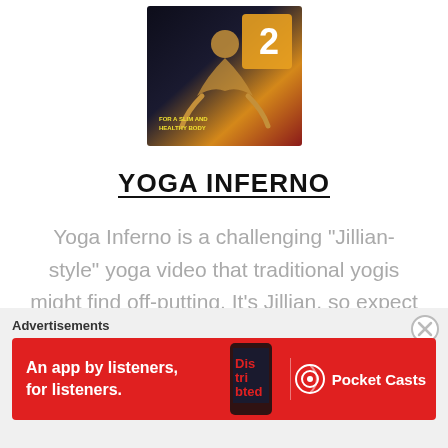[Figure (photo): Product cover image for Yoga Inferno workout video DVD]
YOGA INFERNO
Yoga Inferno is a challenging "Jillian-style" yoga video that traditional yogis might find off-putting. It's Jillian, so expect cardio intervals and a challenging yoga-inspired workout versus a relaxing stretch session.
Advertisements
[Figure (infographic): Pocket Casts advertisement banner: An app by listeners, for listeners. Red background with phone image and Pocket Casts logo.]